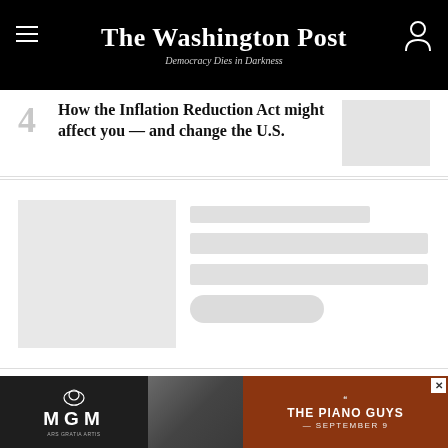The Washington Post
Democracy Dies in Darkness
4  How the Inflation Reduction Act might affect you — and change the U.S.
[Figure (photo): Thumbnail image placeholder (gray box)]
[Figure (photo): Loading skeleton card with image placeholder and text skeleton lines]
[Figure (photo): MGM advertisement banner: MGM logo on left, photo of person in center, dark red background with 'THE PIANO GUYS — SEPTEMBER 9' text on right]